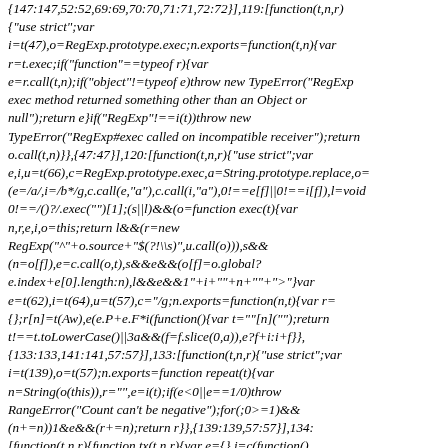{147:147,52:52,69:69,70:70,71:71,72:72}],119:[function(t,n,r){"use strict";var i=t(47),o=RegExp.prototype.exec;n.exports=function(t,n){var r=t.exec;if("function"==typeof r){var e=r.call(t,n);if("object"!=typeof e)throw new TypeError("RegExp exec method returned something other than an Object or null");return e}if("RegExp"!==i(t))throw new TypeError("RegExp#exec called on incompatible receiver");return o.call(t,n)}},{47:47}],120:[function(t,n,r){"use strict";var e,i,u=t(66),c=RegExp.prototype.exec,a=String.prototype.replace,o=(e=/a/,i=/b*/g,c.call(e,"a"),c.call(i,"a"),0!==e[f]||0!==i[f]),l=void 0!==/()?/.exec("")[1];(s||l)&&(o=function exec(t){var n,r,e,i,o=this;return l&&(r=new RegExp("^"+o.source+"$(?!\\s)",u.call(o))),s&&(n=o[f]),e=c.call(o,t),s&&e&&(o[f]=o.global?e.index+e[0].length:n),l&&e&&1"+i+""+n+""+">"}var e=t(62),i=t(64),u=t(57),c="/g;n.exports=function(n,t){var r={};r[n]=t(Aw),e(e.P+e.F*i(function(){var t=""[n]("");return t!==t.toLowerCase()||3a&&(f=f.slice(0,a)),e?f+i:i+f}},{133:133,141:141,57:57}],133:[function(t,n,r){"use strict";var i=t(139),o=t(57);n.exports=function repeat(t){var n=String(o(this)),r="",e=i(t);if(e<0||e==1/0)throw RangeError("Count can't be negative");for(;0>=1)&&(n+=n))1&e&&(r+=n);return r}},{139:139,57:57}],134:[function(t,n,r){function tx(t,n,r){var e={},i=c(function(){...}[10]||""[10]}),o=[],s=s...